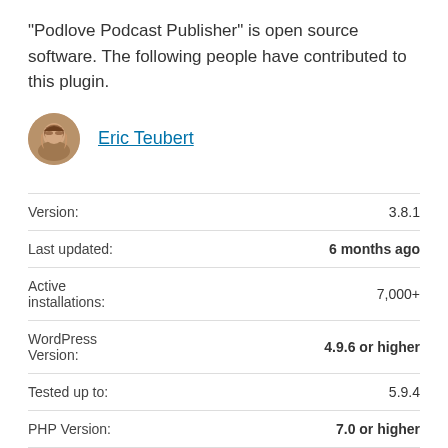“Podlove Podcast Publisher” is open source software. The following people have contributed to this plugin.
Eric Teubert
| Label | Value |
| --- | --- |
| Version: | 3.8.1 |
| Last updated: | 6 months ago |
| Active installations: | 7,000+ |
| WordPress Version: | 4.9.6 or higher |
| Tested up to: | 5.9.4 |
| PHP Version: | 7.0 or higher |
| Languages: | See all 4 |
| Tags: | feed  podcast  podlove  publishing  rss |